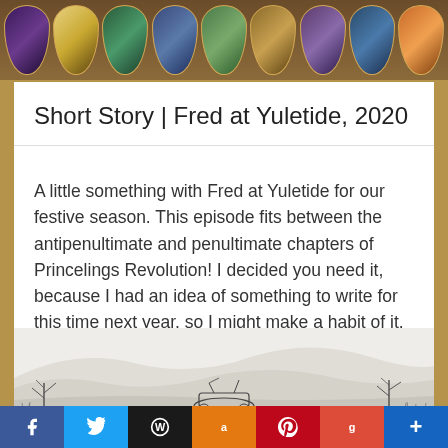[Figure (illustration): Header banner with a row of fantasy book cover illustrations in oval/rounded frames against a wooden/leather brown background]
Short Story | Fred at Yuletide, 2020
A little something with Fred at Yuletide for our festive season. This episode fits between the antipenultimate and penultimate chapters of Princelings Revolution! I decided you need it, because I had an idea of something to write for this time next year, so I might make a habit of it. That will be interesting, because I have no idea what will happen after next year. It’s just over 1000 words.
[Figure (illustration): A pencil sketch illustration of a winter landscape with hills, bare trees, and what appears to be a steampunk or mechanical vehicle/contraption in a snowy scene]
[Figure (other): Social sharing bar with icons for Facebook, Twitter, WordPress, Amazon, Pinterest, Google, and more]